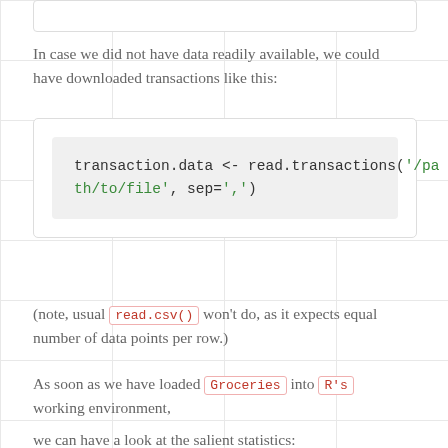In case we did not have data readily available, we could have downloaded transactions like this:
transaction.data <- read.transactions('/path/to/file', sep=',')
(note, usual read.csv() won't do, as it expects equal number of data points per row.)
As soon as we have loaded Groceries into R's working environment,
we can have a look at the salient statistics: